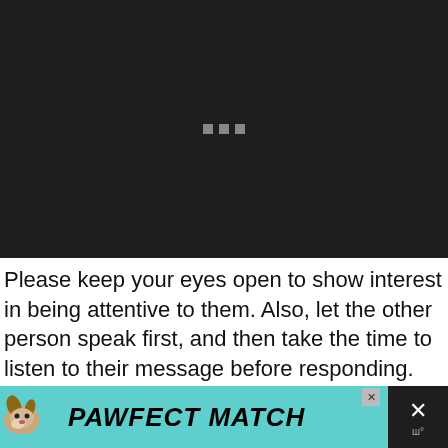[Figure (screenshot): Dark video player placeholder with three small grey loading squares in the center on a near-black background]
Please keep your eyes open to show interest in being attentive to them. Also, let the other person speak first, and then take the time to listen to their message before responding.
[Figure (photo): Advertisement banner for PAWFECT MATCH showing a dog image on teal/cyan background with close button and dark right panel with X button]